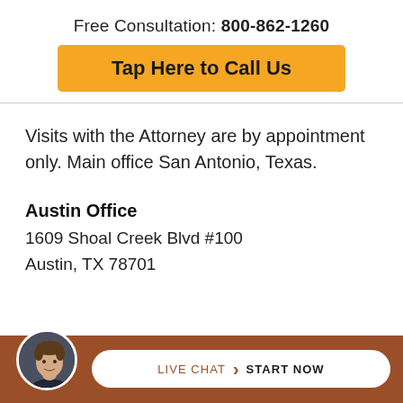Free Consultation: 800-862-1260
Tap Here to Call Us
Visits with the Attorney are by appointment only. Main office San Antonio, Texas.
Austin Office
1609 Shoal Creek Blvd #100
Austin, TX 78701
[Figure (photo): Circular avatar photo of a man in a dark suit, positioned in the bottom bar]
LIVE CHAT  START NOW